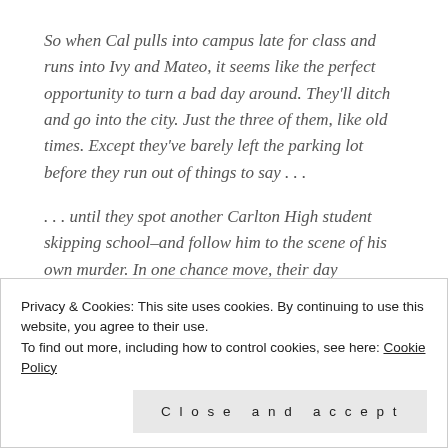So when Cal pulls into campus late for class and runs into Ivy and Mateo, it seems like the perfect opportunity to turn a bad day around. They'll ditch and go into the city. Just the three of them, like old times. Except they've barely left the parking lot before they run out of things to say . . .
. . . until they spot another Carlton High student skipping school–and follow him to the scene of his own murder. In one chance move, their day
Privacy & Cookies: This site uses cookies. By continuing to use this website, you agree to their use. To find out more, including how to control cookies, see here: Cookie Policy
Close and accept
things in common. They all have a connection to